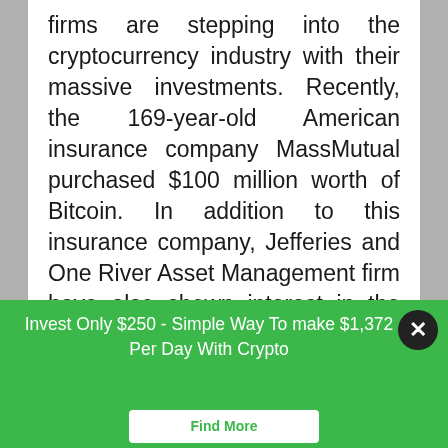firms are stepping into the cryptocurrency industry with their massive investments. Recently, the 169-year-old American insurance company MassMutual purchased $100 million worth of Bitcoin. In addition to this insurance company, Jefferies and One River Asset Management firm have also shown interest in the world’s largest digital currency Bitcoin. This shows that the institutional interest in cryptocurrencies especially in Bitcoin is growing potentially.
At the beginning of this month, the Chief
Invest Only $250 - Simple Way To make $1,372 Per Day With Crypto